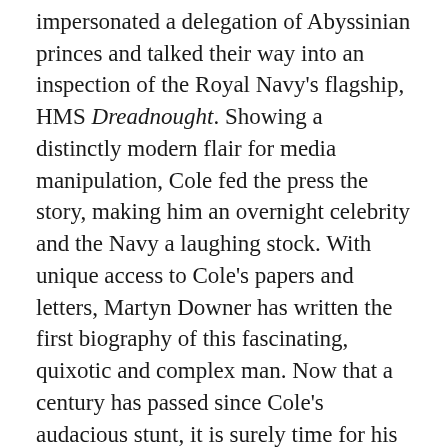impersonated a delegation of Abyssinian princes and talked their way into an inspection of the Royal Navy's flagship, HMS Dreadnought. Showing a distinctly modern flair for media manipulation, Cole fed the press the story, making him an overnight celebrity and the Navy a laughing stock. With unique access to Cole's papers and letters, Martyn Downer has written the first biography of this fascinating, quixotic and complex man. Now that a century has passed since Cole's audacious stunt, it is surely time for his story to be told. In The Sultan of Zanzibar, Downer conjures up a vanished pre-war world of seedy nightclubs, artistic battles and doomed love affairs with, at its heart-roaring, blustering and raging - its chief jester Horace de Vere Cole.
Martyn Downer is author of Nelson's Purse, an